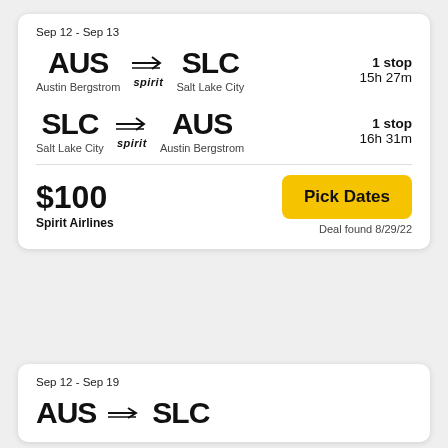Sep 12 - Sep 13
AUS → SLC | Austin Bergstrom → Salt Lake City | spirit | 1 stop | 15h 27m
SLC → AUS | Salt Lake City → Austin Bergstrom | spirit | 1 stop | 16h 31m
$100
Spirit Airlines
Pick Dates
Deal found 8/29/22
Sep 12 - Sep 19
AUS  SLC